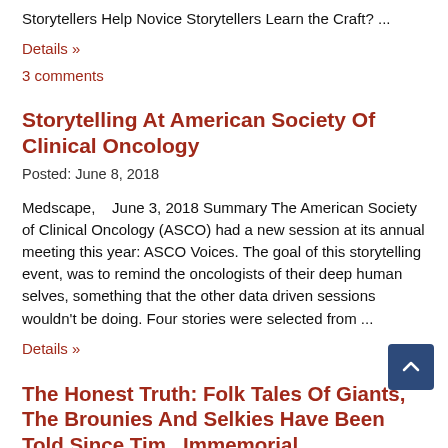Storytellers Help Novice Storytellers Learn the Craft? ...
Details »
3 comments
Storytelling At American Society Of Clinical Oncology
Posted: June 8, 2018
Medscape,    June 3, 2018 Summary The American Society of Clinical Oncology (ASCO) had a new session at its annual meeting this year: ASCO Voices. The goal of this storytelling event, was to remind the oncologists of their deep human selves, something that the other data driven sessions wouldn't be doing. Four stories were selected from ...
Details »
The Honest Truth: Folk Tales Of Giants, The Brounies And Selkies Have Been Told Since Time Immemorial
Posted: June 7, 2018